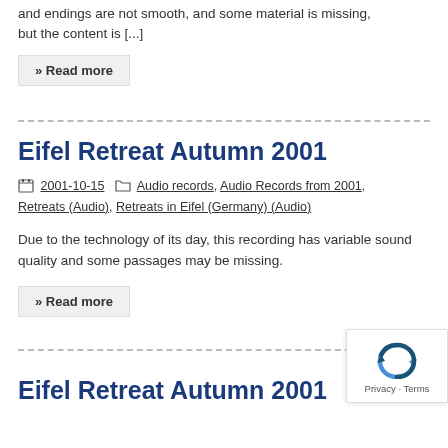and endings are not smooth, and some material is missing, but the content is [...]
» Read more
Eifel Retreat Autumn 2001
2001-10-15  Audio records, Audio Records from 2001, Retreats (Audio), Retreats in Eifel (Germany) (Audio)
Due to the technology of its day, this recording has variable sound quality and some passages may be missing.
» Read more
Eifel Retreat Autumn 2001